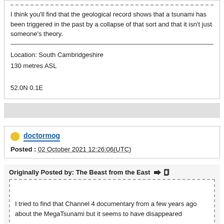I think you'll find that the geological record shows that a tsunami has been triggered in the past by a collapse of that sort and that it isn't just someone's theory.
Location: South Cambridgeshire
130 metres ASL

52.0N 0.1E
doctormog
Posted : 02 October 2021 12:26:06(UTC)
Originally Posted by: The Beast from the East
I tried to find that Channel 4 documentary from a few years ago about the MegaTsunami but it seems to have disappeared

Obviously nonsense that half the Island could collapse and even if it did, it may trigger a large Tsunami that reaches America or us